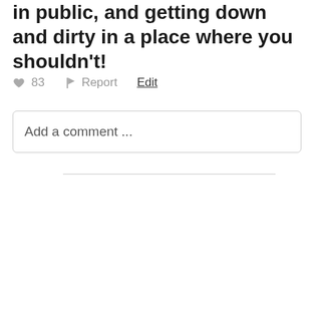in public, and getting down and dirty in a place where you shouldn't!
♥ 83   ⚑ Report   Edit
Add a comment ...